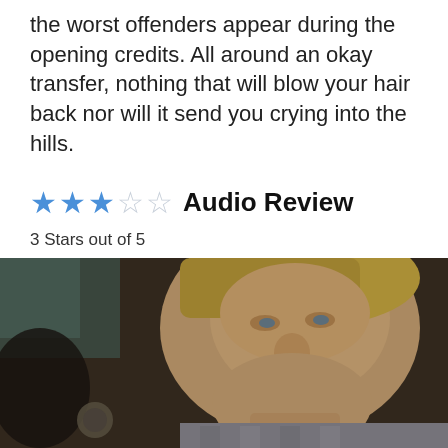the worst offenders appear during the opening credits. All around an okay transfer, nothing that will blow your hair back nor will it send you crying into the hills.
★★★☆☆ Audio Review
3 Stars out of 5
[Figure (photo): Close-up photo of a middle-aged man with blonde hair, smiling slightly, wearing a checkered shirt, with a blurred background.]